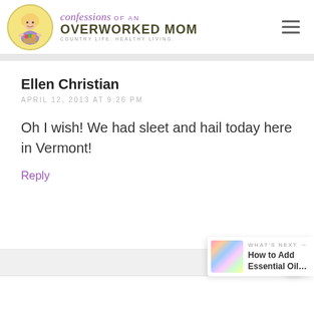Confessions of an Overworked Mom — Country Life. Healthy Living.
Ellen Christian
APRIL 12, 2013 AT 9:26 PM

Oh I wish! We had sleet and hail today here in Vermont!
Reply